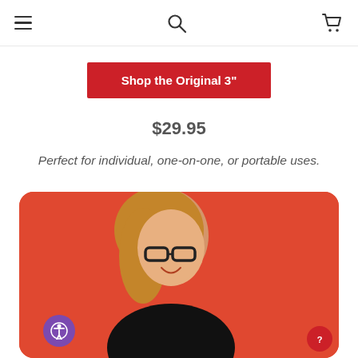Navigation header with hamburger menu, search icon, and cart icon
Shop the Original 3"
$29.95
Perfect for individual, one-on-one, or portable uses.
[Figure (photo): Young woman with glasses smiling and looking at a device, against a red/orange background. Purple accessibility button overlay at bottom left and red help button at bottom right.]